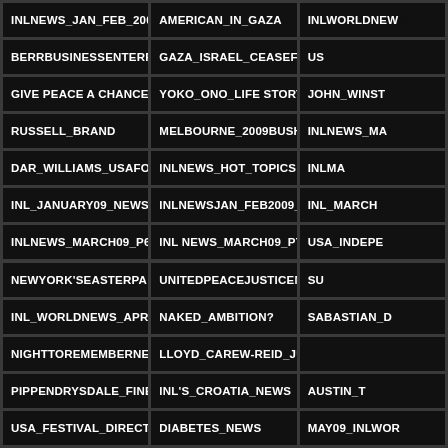[Figure (screenshot): Grid of dark-background tiles with white bold text showing news/topic category labels arranged in a 3-column grid layout]